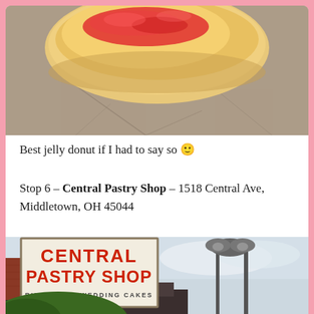[Figure (photo): Close-up photo of a jelly donut on a concrete surface, showing golden pastry with red jelly filling on top]
Best jelly donut if I had to say so 🙂
Stop 6 – Central Pastry Shop – 1518 Central Ave, Middletown, OH 45044
[Figure (photo): Photo of Central Pastry Shop sign reading 'CENTRAL PASTRY SHOP' and 'BIRTHDAY & WEDDING CAKES' with a street lamp and building visible]